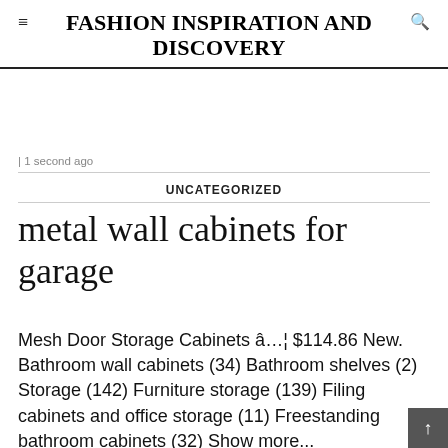≡ FASHION INSPIRATION AND DISCOVERY
| 1 second ago
UNCATEGORIZED
metal wall cabinets for garage
Mesh Door Storage Cabinets â€¦ $114.86 New. Bathroom wall cabinets (34) Bathroom shelves (2) Storage (142) Furniture storage (139) Filing cabinets and office storage (11) Freestanding bathroom cabinets (32) Show more...